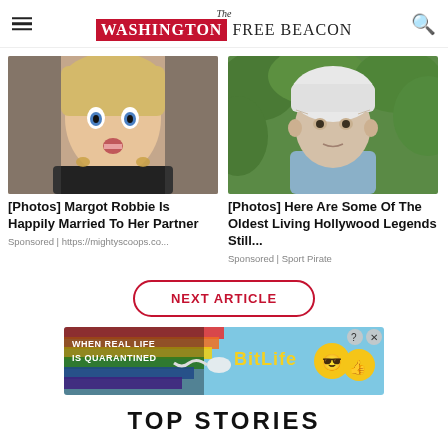The Washington Free Beacon
[Figure (photo): Photo of Margot Robbie with surprised expression, wearing dark clothing with jewelry]
[Photos] Margot Robbie Is Happily Married To Her Partner
Sponsored | https://mightyscoops.co...
[Figure (photo): Photo of an elderly white-haired man outdoors in front of green foliage]
[Photos] Here Are Some Of The Oldest Living Hollywood Legends Still...
Sponsored | Sport Pirate
[Figure (other): BitLife advertisement banner: rainbow background with text WHEN REAL LIFE IS QUARANTINED, BitLife branding with emoji icons]
TOP STORIES